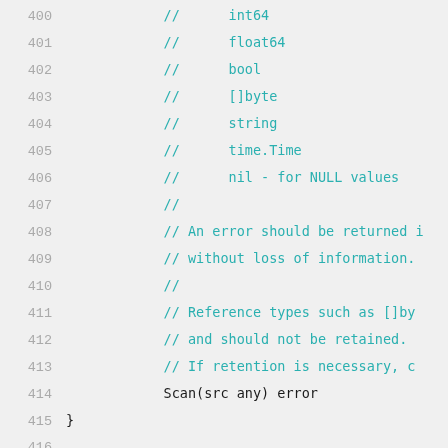Code listing lines 400-424, Go source code with comments about SQL Scanner interface and Out variable usage